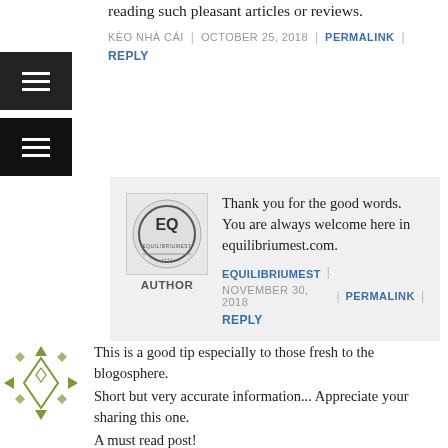however I allow I am getting experience everyday by reading such pleasant articles or reviews.
KÈO NHÀ CÁI | OCTOBER 25, 2018 | PERMALINK | REPLY
[Figure (screenshot): EQ Equilibriumest circular logo/avatar with author label]
Thank you for the good words. You are always welcome here in equilibriumest.com.
EQUILIBRIUMEST | NOVEMBER 30, 2018 | PERMALINK | REPLY
[Figure (illustration): Green diamond/arrow pattern avatar]
This is a good tip especially to those fresh to the blogosphere.
Short but very accurate information... Appreciate your sharing this one.
A must read post!